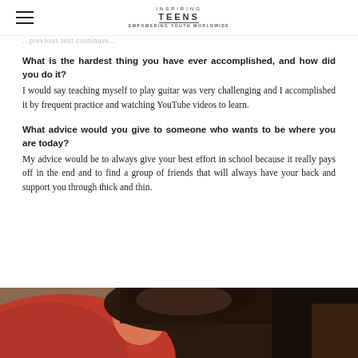Inspiring Teens
...previous text continues...
What is the hardest thing you have ever accomplished, and how did you do it?
I would say teaching myself to play guitar was very challenging and I accomplished it by frequent practice and watching YouTube videos to learn.
What advice would you give to someone who wants to be where you are today?
My advice would be to always give your best effort in school because it really pays off in the end and to find a group of friends that will always have your back and support you through thick and thin.
[Figure (photo): Photo of a young woman in a red top with dark hair, viewed from behind/side angle]